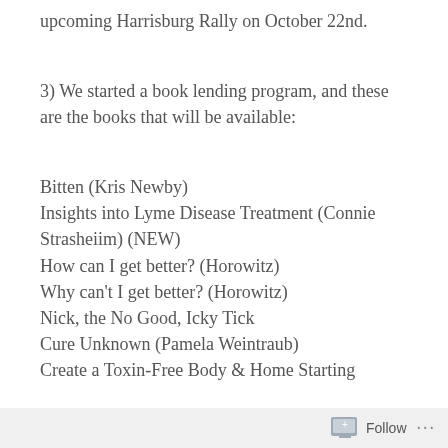upcoming Harrisburg Rally on October 22nd.
3) We started a book lending program, and these are the books that will be available:
Bitten (Kris Newby)
Insights into Lyme Disease Treatment (Connie Strasheiim) (NEW)
How can I get better? (Horowitz)
Why can't I get better? (Horowitz)
Nick, the No Good, Icky Tick
Cure Unknown (Pamela Weintraub)
Create a Toxin-Free Body & Home Starting
Follow